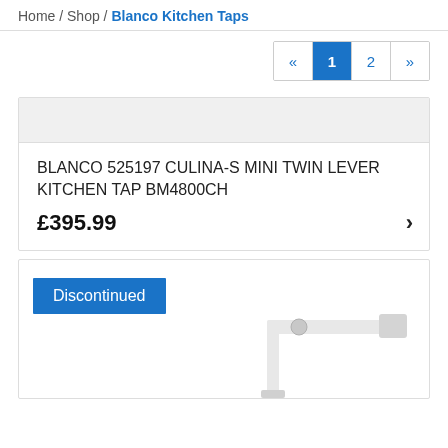Home / Shop / Blanco Kitchen Taps
Pagination: « 1 2 »
BLANCO 525197 CULINA-S MINI TWIN LEVER KITCHEN TAP BM4800CH
£395.99
[Figure (photo): Discontinued kitchen tap product with a blue 'Discontinued' badge label and a photo of a modern white/chrome kitchen tap]